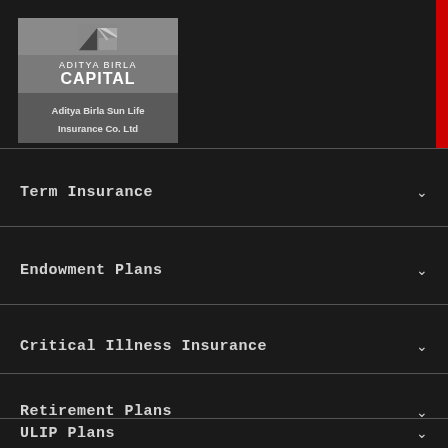[Figure (logo): Aditya Birla Capital logo with geometric diamond/triangle shapes in grey, with text 'ADITYA BIRLA CAPITAL' and subtitle 'Aditya Birla Sun Life Insurance Co. Ltd']
Term Insurance
Endowment Plans
Critical Illness Insurance
Retirement Plans
ULIP Plans